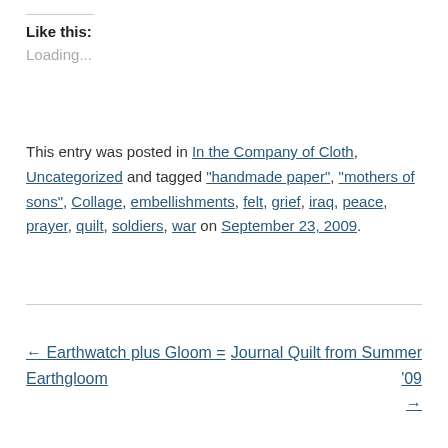Like this:
Loading...
This entry was posted in In the Company of Cloth, Uncategorized and tagged "handmade paper", "mothers of sons", Collage, embellishments, felt, grief, iraq, peace, prayer, quilt, soldiers, war on September 23, 2009.
← Earthwatch plus Gloom = Earthgloom
Journal Quilt from Summer '09 →